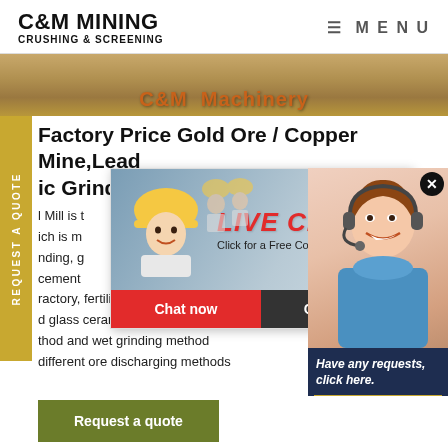C&M MINING CRUSHING & SCREENING | MENU
[Figure (photo): Hero banner strip showing industrial machinery with C&M Machinery text]
Factory Price Gold Ore / Copper Mine,Lead ic Grinding
l Mill is t ich is m nding, g cement ractory, fertilizer, black and no d glass ceramic industry. It is di thod and wet grinding method different ore discharging methods
[Figure (screenshot): Live Chat popup overlay with woman in hard hat, LIVE CHAT label, Click for a Free Consultation text, Chat now and Chat later buttons]
[Figure (photo): Right side popup showing smiling woman with headset, Have any requests click here text, and Quotation button]
REQUEST A QUOTE (sidebar tab)
Request a quote